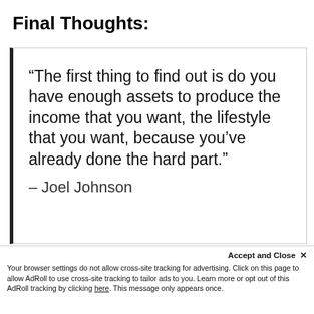Final Thoughts:
“The first thing to find out is do you have enough assets to produce the income that you want, the lifestyle that you want, because you’ve already done the hard part.”
– Joel Johnson
Accept and Close × Your browser settings do not allow cross-site tracking for advertising. Click on this page to allow AdRoll to use cross-site tracking to tailor ads to you. Learn more or opt out of this AdRoll tracking by clicking here. This message only appears once.